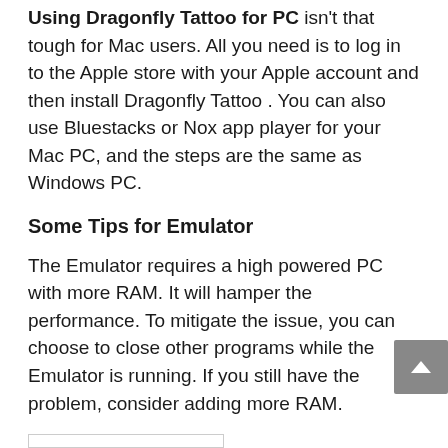Using Dragonfly Tattoo for PC isn't that tough for Mac users. All you need is to log in to the Apple store with your Apple account and then install Dragonfly Tattoo . You can also use Bluestacks or Nox app player for your Mac PC, and the steps are the same as Windows PC.
Some Tips for Emulator
The Emulator requires a high powered PC with more RAM. It will hamper the performance. To mitigate the issue, you can choose to close other programs while the Emulator is running. If you still have the problem, consider adding more RAM.